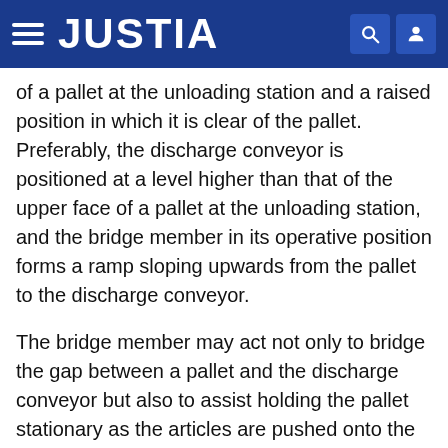JUSTIA
of a pallet at the unloading station and a raised position in which it is clear of the pallet. Preferably, the discharge conveyor is positioned at a level higher than that of the upper face of a pallet at the unloading station, and the bridge member in its operative position forms a ramp sloping upwards from the pallet to the discharge conveyor.
The bridge member may act not only to bridge the gap between a pallet and the discharge conveyor but also to assist holding the pallet stationary as the articles are pushed onto the bridge member.
In accordance with another aspect of the invention, there is provided apparatus for loading cylindrical articles such as kegs onto a pallet so that the articles lie on their sides in a plurality of rows, the apparatus comprising means for moving an empty pallet to a